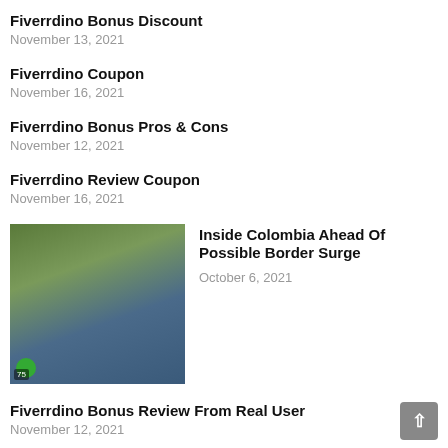Fiverrdino Bonus Discount
November 13, 2021
Fiverrdino Coupon
November 16, 2021
Fiverrdino Bonus Pros & Cons
November 12, 2021
Fiverrdino Review Coupon
November 16, 2021
[Figure (photo): Outdoor market scene with people, trees and tents - Colombia border area]
Inside Colombia Ahead Of Possible Border Surge
October 6, 2021
Fiverrdino Bonus Review From Real User
November 12, 2021
[Figure (photo): Portrait of elderly man - F.W. De Klerk]
F.W. De Klerk, The Man Who Freed Nelson Mandela Dies Aged 85